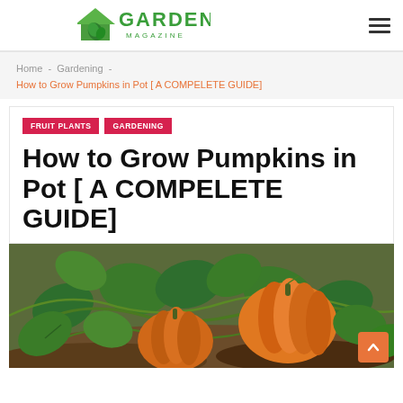GARDEN MAGAZINE
Home - Gardening -
How to Grow Pumpkins in Pot [ A COMPELETE GUIDE]
FRUIT PLANTS   GARDENING
How to Grow Pumpkins in Pot [ A COMPELETE GUIDE]
[Figure (photo): Orange pumpkins growing on vines with green leaves on the ground]